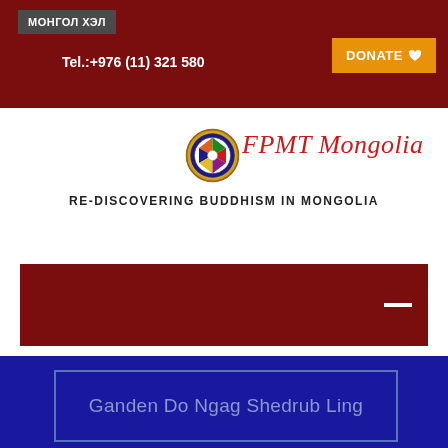МОНГОЛ ХЭЛ
Tel.:+976 (11) 321 580
DONATE
[Figure (logo): FPMT Mongolia circular logo with decorative border]
FPMT Mongolia
RE-DISCOVERING BUDDHISM IN MONGOLIA
Ganden Do Ngag Shedrub Ling